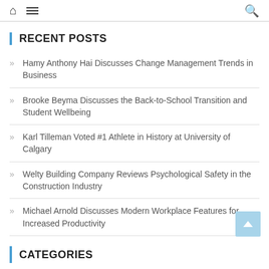Home | Menu | Search
RECENT POSTS
Hamy Anthony Hai Discusses Change Management Trends in Business
Brooke Beyma Discusses the Back-to-School Transition and Student Wellbeing
Karl Tilleman Voted #1 Athlete in History at University of Calgary
Welty Building Company Reviews Psychological Safety in the Construction Industry
Michael Arnold Discusses Modern Workplace Features for Increased Productivity
CATEGORIES